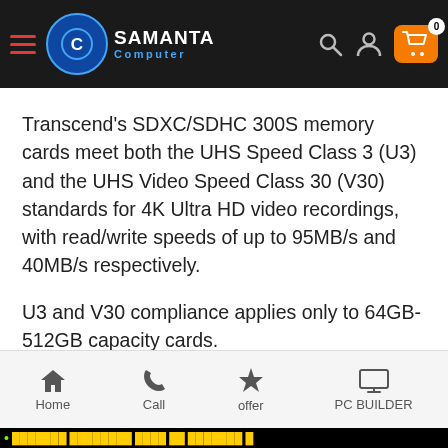Samanta Computer — navigation header
Transcend's SDXC/SDHC 300S memory cards meet both the UHS Speed Class 3 (U3) and the UHS Video Speed Class 30 (V30) standards for 4K Ultra HD video recordings, with read/write speeds of up to 95MB/s and 40MB/s respectively.
U3 and V30 compliance applies only to 64GB-512GB capacity cards.
Home | Call | offer | PC BUILDER